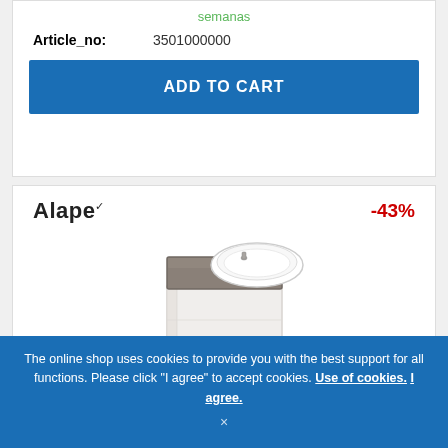semanas
| Article_no: | 3501000000 |
ADD TO CART
Alape™  -43%
[Figure (photo): White modular washbasin/vanity unit with an oval white basin on top and a grey/taupe shelf, wall-mounted pedestal style]
The online shop uses cookies to provide you with the best support for all functions. Please click "I agree" to accept cookies. Use of cookies. I agree. ×